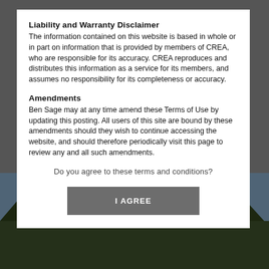Liability and Warranty Disclaimer
The information contained on this website is based in whole or in part on information that is provided by members of CREA, who are responsible for its accuracy. CREA reproduces and distributes this information as a service for its members, and assumes no responsibility for its completeness or accuracy.
Amendments
Ben Sage may at any time amend these Terms of Use by updating this posting. All users of this site are bound by these amendments should they wish to continue accessing the website, and should therefore periodically visit this page to review any and all such amendments.
Do you agree to these terms and conditions?
I AGREE
[Figure (photo): Outdoor landscape photo showing trees and sky in the background, partially visible behind the modal dialog.]